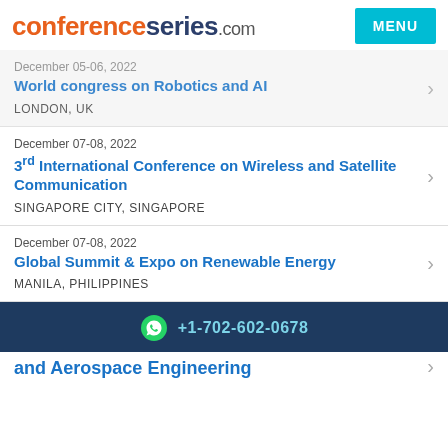conferenceseries.com
December 05-06, 2022 | World congress on Robotics and AI | LONDON, UK
December 07-08, 2022 | 3rd International Conference on Wireless and Satellite Communication | SINGAPORE CITY, SINGAPORE
December 07-08, 2022 | Global Summit & Expo on Renewable Energy | MANILA, PHILIPPINES
+1-702-602-0678
and Aerospace Engineering